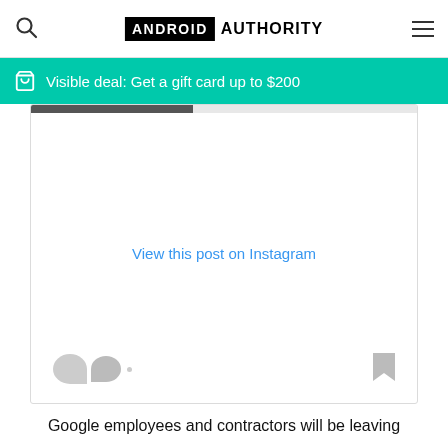ANDROID AUTHORITY
Visible deal: Get a gift card up to $200
[Figure (screenshot): Instagram embedded post area with 'View this post on Instagram' link and social icons]
Google employees and contractors will be leaving